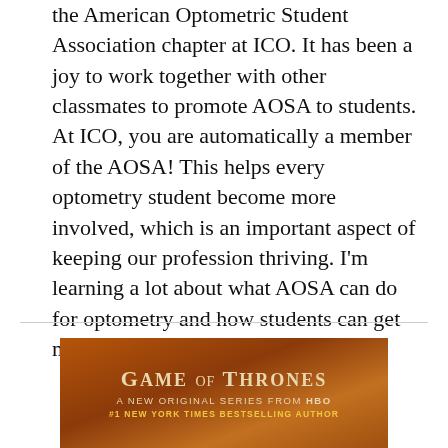the American Optometric Student Association chapter at ICO. It has been a joy to work together with other classmates to promote AOSA to students. At ICO, you are automatically a member of the AOSA! This helps every optometry student become more involved, which is an important aspect of keeping our profession thriving. I'm learning a lot about what AOSA can do for optometry and how students can get more involved with their state associ
[Figure (photo): Book cover of 'Game of Thrones' showing the title in gold/cream lettering on a warm brown/orange background, with subtitle 'A New Original Series from HBO' and '#1 New York Times Bestselling Author']